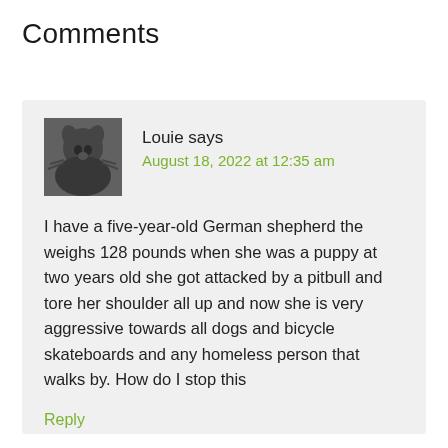Comments
Louie says
August 18, 2022 at 12:35 am
I have a five-year-old German shepherd the weighs 128 pounds when she was a puppy at two years old she got attacked by a pitbull and tore her shoulder all up and now she is very aggressive towards all dogs and bicycle skateboards and any homeless person that walks by. How do I stop this
Reply